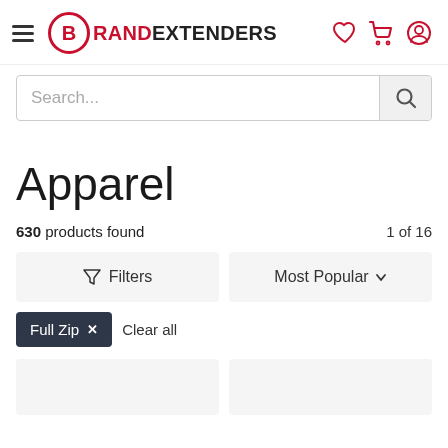BrandExtenders navigation header with hamburger menu, logo, heart icon, cart icon, and user icon
Search...
Apparel
630 products found — 1 of 16
Filters | Most Popular
Full Zip ✕
Clear all